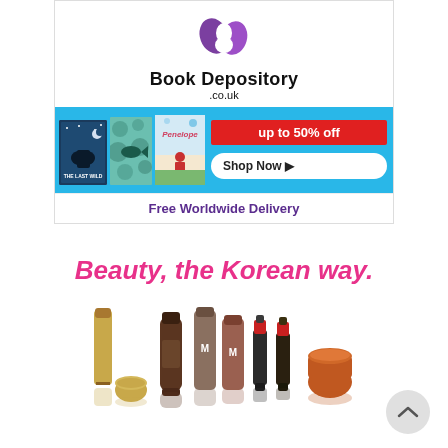[Figure (logo): Book Depository .co.uk logo with purple swirl/circular icon and bold brand name text]
[Figure (illustration): Blue banner ad showing three book covers (The Last Wild, a teal patterned book, Penelope) with a red 'up to 50% off' badge and 'Shop Now' button]
Free Worldwide Delivery
Beauty, the Korean way.
[Figure (photo): Row of Korean beauty products including gold skincare jars, a brown tube, two M-branded tubes, two red nail polishes, and an orange jar]